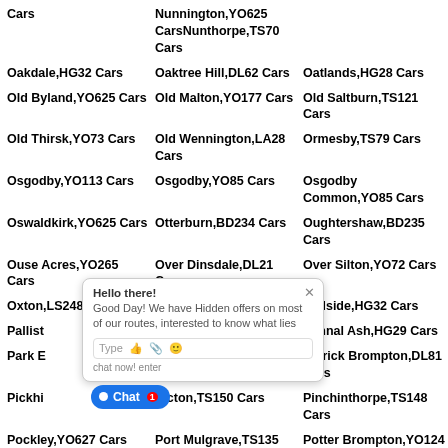Cars
Nunnington,YO625 Cars
Nunthorpe,TS70 Cars
Oakdale,HG32 Cars
Oaktree Hill,DL62 Cars
Oatlands,HG28 Cars
Old Byland,YO625 Cars
Old Malton,YO177 Cars
Old Saltburn,TS121 Cars
Old Thirsk,YO73 Cars
Old Wennington,LA28 Cars
Ormesby,TS79 Cars
Osgodby,YO113 Cars
Osgodby,YO85 Cars
Osgodby Common,YO85 Cars
Oswaldkirk,YO625 Cars
Otterburn,BD234 Cars
Oughtershaw,BD235 Cars
Ouse Acres,YO265 Cars
Over Dinsdale,DL21 Cars
Over Silton,YO72 Cars
Oxton,LS248 Cars
Ozendyke,LS249 Cars
Padside,HG32 Cars
Pallister Cars
Pannal,HG31 Cars
Pannal Ash,HG29 Cars
Park B Cars
Pateley Bridge,HG35 Cars
Patrick Brompton,DL81 Cars
Pickhi Cars
Picton,TS150 Cars
Pinchinthorpe,TS148 Cars
Pockley,YO627 Cars
Port Mulgrave,TS135 Cars
Potter Brompton,YO124 Cars
Preston-under-
Primrose Hill,TS134
Primrose Valley,YO149